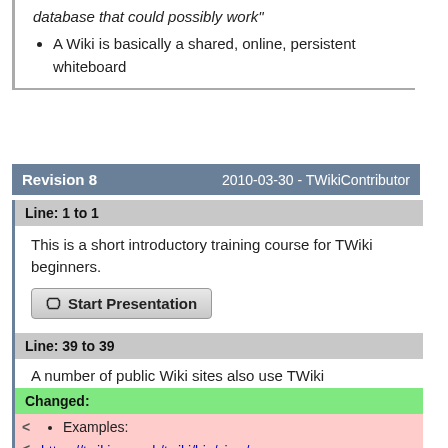database that could possibly work"
A Wiki is basically a shared, online, persistent whiteboard
Revision 8    2010-03-30 - TWikiContributor
Line: 1 to 1
This is a short introductory training course for TWiki beginners.
Start Presentation
Line: 39 to 39
A number of public Wiki sites also use TWiki
Changed:
Examples:
https://twiki.cern.ch/twiki/bin/view/